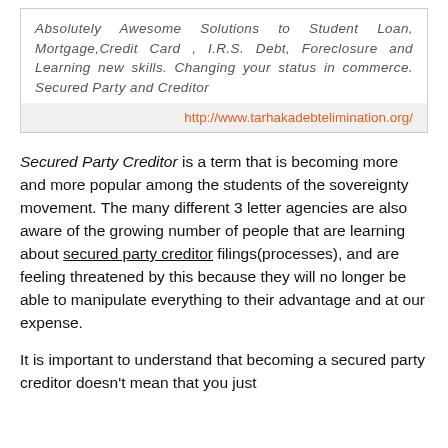Absolutely Awesome Solutions to Student Loan, Mortgage,Credit Card , I.R.S. Debt, Foreclosure and Learning new skills. Changing your status in commerce. Secured Party and Creditor
http://www.tarhakadebtelimination.org/
Secured Party Creditor is a term that is becoming more and more popular among the students of the sovereignty movement. The many different 3 letter agencies are also aware of the growing number of people that are learning about secured party creditor filings(processes), and are feeling threatened by this because they will no longer be able to manipulate everything to their advantage and at our expense.
It is important to understand that becoming a secured party creditor doesn’t mean that you just